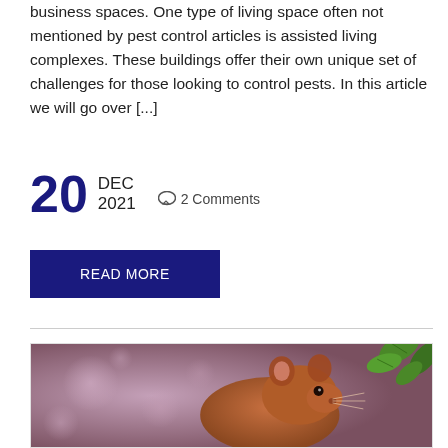business spaces. One type of living space often not mentioned by pest control articles is assisted living complexes. These buildings offer their own unique set of challenges for those looking to control pests. In this article we will go over [...]
20 DEC 2021  ☉ 2 Comments
READ MORE
[Figure (photo): Close-up photo of a brown rat or mouse with green plant leaves visible in the upper right corner, against a blurred bokeh background]